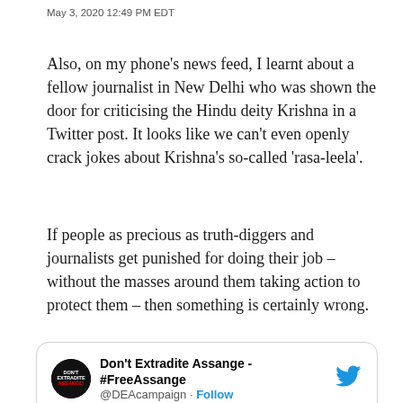May 3, 2020 12:49 PM EDT
Also, on my phone's news feed, I learnt about a fellow journalist in New Delhi who was shown the door for criticising the Hindu deity Krishna in a Twitter post. It looks like we can't even openly crack jokes about Krishna's so-called 'rasa-leela'.
If people as precious as truth-diggers and journalists get punished for doing their job – without the masses around them taking action to protect them – then something is certainly wrong.
[Figure (screenshot): Embedded tweet from @DEAcampaign (Don't Extradite Assange - #FreeAssange) with Twitter bird logo, avatar, Follow button, and partial tweet text: "#Assange's case is an attack on #PressFreedom & his extradition will have"]